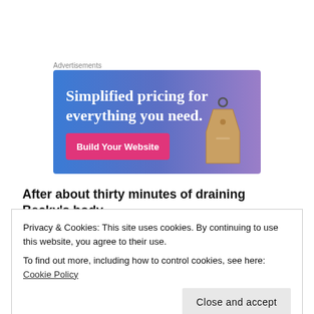Advertisements
[Figure (illustration): Advertisement banner with gradient blue-to-purple background, text 'Simplified pricing for everything you need.' with a pink 'Build Your Website' button and a price tag image on the right.]
After about thirty minutes of draining Becky's body
Privacy & Cookies: This site uses cookies. By continuing to use this website, you agree to their use.
To find out more, including how to control cookies, see here: Cookie Policy
cart, threw the items on top of a pile of clothes